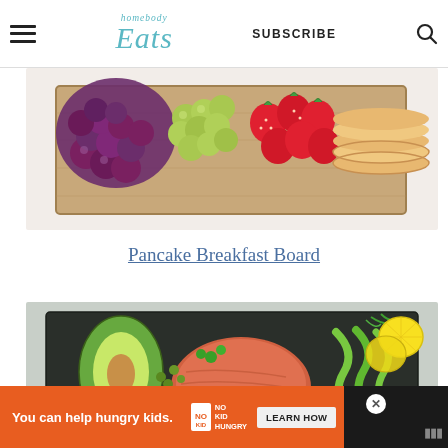homebody EATS | SUBSCRIBE
[Figure (photo): Overhead view of a pancake breakfast board with grapes, strawberries, green grapes, and stacked pancakes on a wooden board with white marble surface]
Pancake Breakfast Board
[Figure (photo): Overhead view of a charcuterie-style board with smoked salmon, avocado slices, boiled egg, radishes, cucumber ribbons, cherry tomatoes, lemon slices, dill, capers, and herbs on a dark slate board]
You can help hungry kids. NO KID HUNGRY LEARN HOW